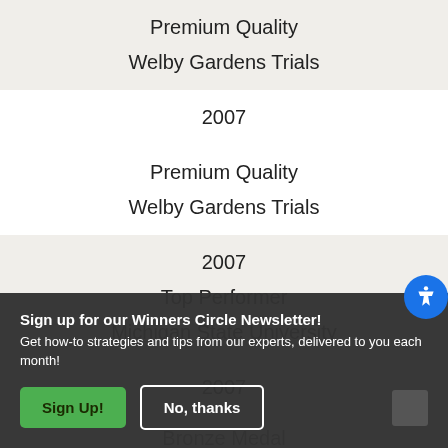| Premium Quality | Welby Gardens Trials |
| 2007 |
| Premium Quality | Welby Gardens Trials |
| 2007 | Top Performer | Michigan State University |
| 2007 |
| Bronze Medal | University of Illinois Champaign County Master Gardeners |
| 2007 |
| Top Performer |
| Michigan State University |
Sign up for our Winners Circle Newsletter!
Get how-to strategies and tips from our experts, delivered to you each month!
Sign Up!
No, thanks